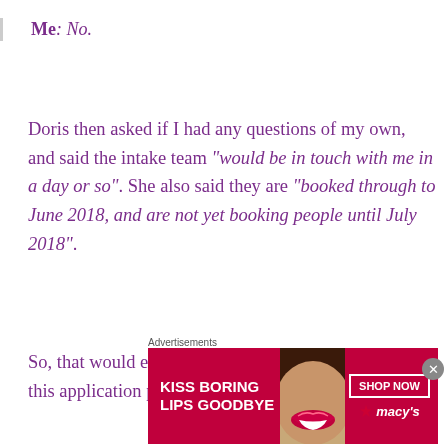Me: No.
Doris then asked if I had any questions of my own, and said the intake team “would be in touch with me in a day or so”. She also said they are “booked through to June 2018, and are not yet booking people until July 2018”.
So, that would eventually take me to the final step of this application process…I was waiting
Advertisements
[Figure (other): Macy's lip product advertisement banner: KISS BORING LIPS GOODBYE, SHOP NOW, macys star logo]